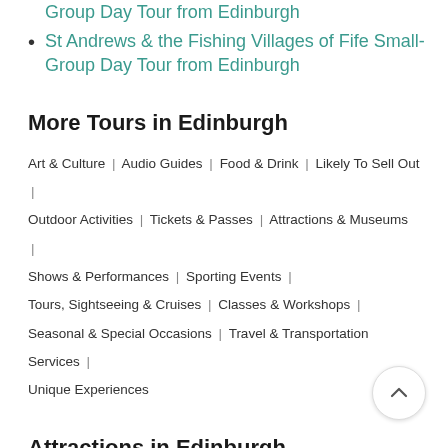Group Day Tour from Edinburgh
St Andrews & the Fishing Villages of Fife Small-Group Day Tour from Edinburgh
More Tours in Edinburgh
Art & Culture | Audio Guides | Food & Drink | Likely To Sell Out | Outdoor Activities | Tickets & Passes | Attractions & Museums | Shows & Performances | Sporting Events | Tours, Sightseeing & Cruises | Classes & Workshops | Seasonal & Special Occasions | Travel & Transportation Services | Unique Experiences
Attractions in Edinburgh
Rosslyn Castle (Roslin Castle) Tours & Tickets |